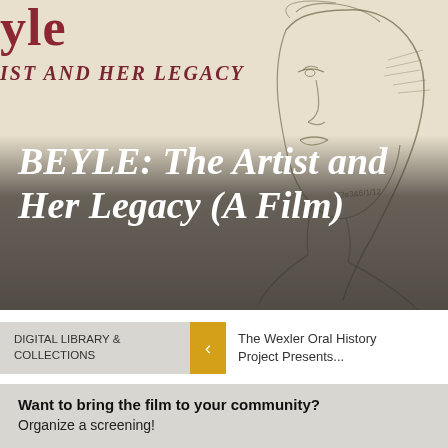[Figure (illustration): Partial view of a book or poster cover showing the word 'yle' in bold red serif font and subtitle 'IST AND HER LEGACY' in dark red, with a pencil sketch illustration of a person's face/portrait on the right side, on a cream/parchment background.]
BEYLE: The Artist and Her Legacy (A Film)
DIGITAL LIBRARY & COLLECTIONS
The Wexler Oral History Project Presents...
Want to bring the film to your community?
Organize a screening!